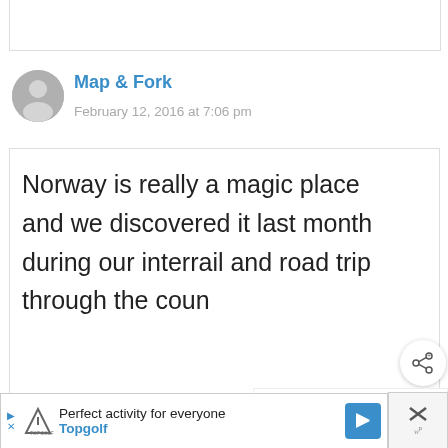Map & Fork
February 12, 2016 at 7:06 pm
Norway is really a magic place and we discovered it last month during our interrail and road trip through the coun…

Congratulations for the
[Figure (screenshot): Share button overlay (circular white button with share icon)]
[Figure (screenshot): What's Next panel showing a thumbnail and text '11 Goonies Filming...']
Perfect activity for everyone
Topgolf